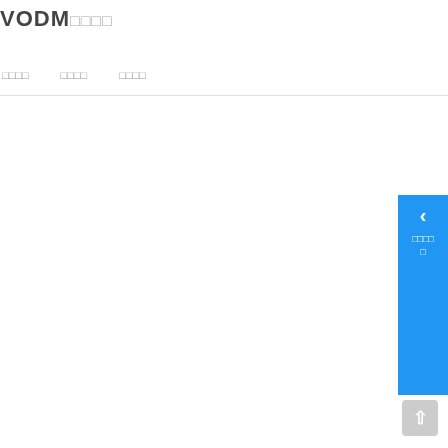VODM□□□□
□□□□    □□□□    □□□□
[Figure (screenshot): Website UI with logo VODM and navigation bar with three menu items showing placeholder characters, a blue sidebar panel on the right with a left arrow and text, and a gray scroll-to-top button at bottom right]